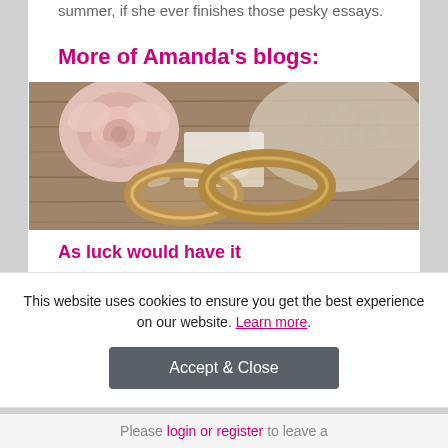summer, if she ever finishes those pesky essays.
More of Amanda's blogs:
[Figure (photo): Two gold wedding rings on a wooden surface with a pink rose and white lace in the background]
As luck would have it
Can rejecting superstition help you save money? Amanda
This website uses cookies to ensure you get the best experience on our website. Learn more.
Accept & Close
Please login or register to leave a